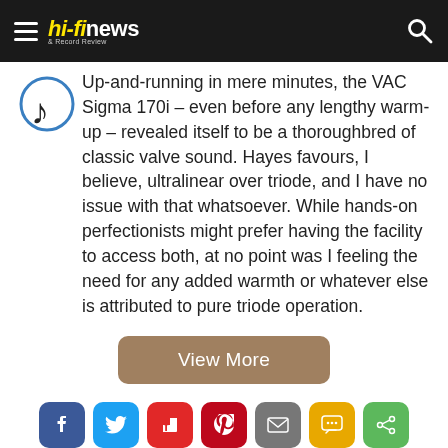hi-fi news & Record Review
[Figure (logo): Music note / headphone icon in blue circle]
Up-and-running in mere minutes, the VAC Sigma 170i – even before any lengthy warm-up – revealed itself to be a thoroughbred of classic valve sound. Hayes favours, I believe, ultralinear over triode, and I have no issue with that whatsoever. While hands-on perfectionists might prefer having the facility to access both, at no point was I feeling the need for any added warmth or whatever else is attributed to pure triode operation.
View More
[Figure (infographic): Social sharing icons row: Facebook, Twitter, Flipboard, Pinterest, Email, Message, Share]